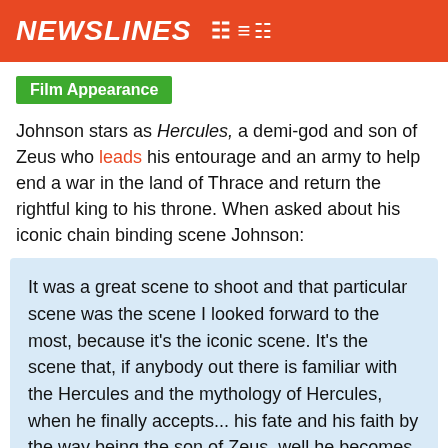NEWSLINES
Film Appearance
Johnson stars as Hercules, a demi-god and son of Zeus who leads his entourage and an army to help end a war in the land of Thrace and return the rightful king to his throne. When asked about his iconic chain binding scene Johnson:
It was a great scene to shoot and that particular scene was the scene I looked forward to the most, because it's the iconic scene. It's the scene that, if anybody out there is familiar with the Hercules and the mythology of Hercules, when he finally accepts... his fate and his faith by the way being the son of Zeus, well he becomes more powerful.
[Figure (photo): Dark/black panel at the bottom of the page, likely a video thumbnail or image placeholder]